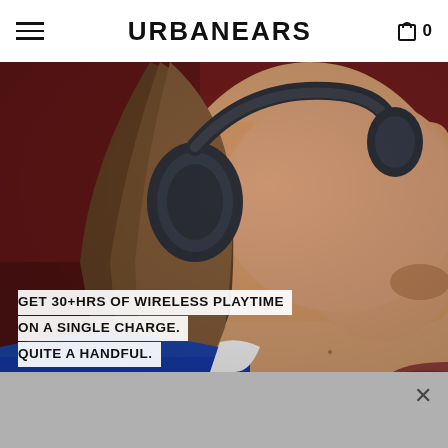URBANEARS
[Figure (photo): Close-up photo of a person wearing dark over-ear wireless headphones against a dark red background, wearing a blue top. The photo shows the lower half of the face, neck, and the headphone on the left ear.]
GET 30+HRS OF WIRELESS PLAYTIME ON A SINGLE CHARGE. QUITE A HANDFUL.